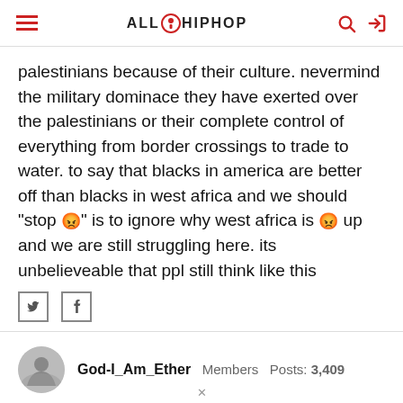ALL HIP HOP
palestinians because of their culture. nevermind the military dominace they have exerted over the palestinians or their complete control of everything from border crossings to trade to water. to say that blacks in america are better off than blacks in west africa and we should "stop 😡" is to ignore why west africa is 😡 up and we are still struggling here. its unbelieveable that ppl still think like this
God-I_Am_Ether   Members   Posts: 3,409